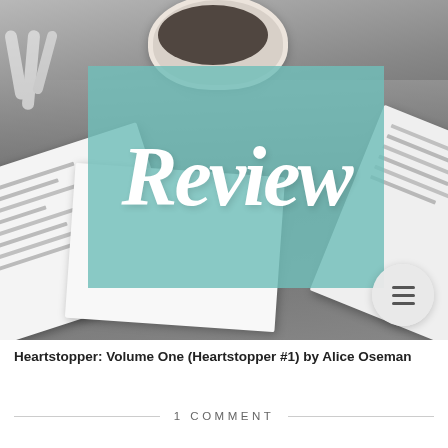[Figure (photo): Blog post header image showing open books on a dark surface with a white cup of tea/coffee in the background. A teal/mint colored semi-transparent box overlays the center with the word 'Review' written in white script font.]
Heartstopper: Volume One (Heartstopper #1) by Alice Oseman
1 COMMENT